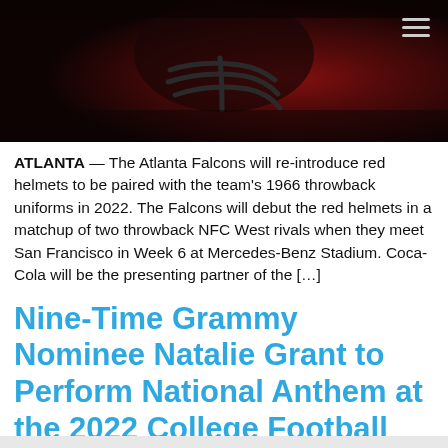[Figure (photo): Dark red-toned photo of a football helmet (Atlanta Falcons red helmet) on a dark background, with a hamburger menu icon in the top right corner]
ATLANTA — The Atlanta Falcons will re-introduce red helmets to be paired with the team's 1966 throwback uniforms in 2022. The Falcons will debut the red helmets in a matchup of two throwback NFC West rivals when they meet San Francisco in Week 6 at Mercedes-Benz Stadium. Coca-Cola will be the presenting partner of the […]
Nine-Time Grammy Nominee Natalie Grant to Perform National Anthem at the 2022 College Football Playoff National Championship